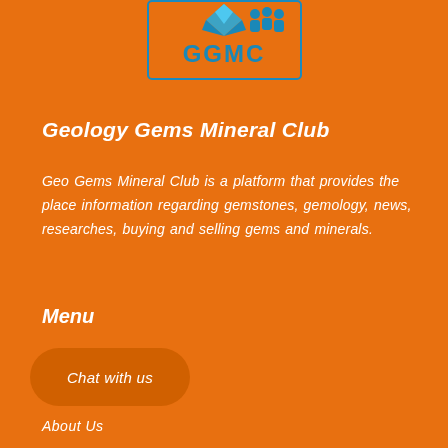[Figure (logo): GGMC Geology Gems Mineral Club logo with blue gem icon and people icon, text GGMC in blue]
Geology Gems Mineral Club
Geo Gems Mineral Club is a platform that provides the place information regarding gemstones, gemology, news, researches, buying and selling gems and minerals.
Menu
Chat with us
About Us